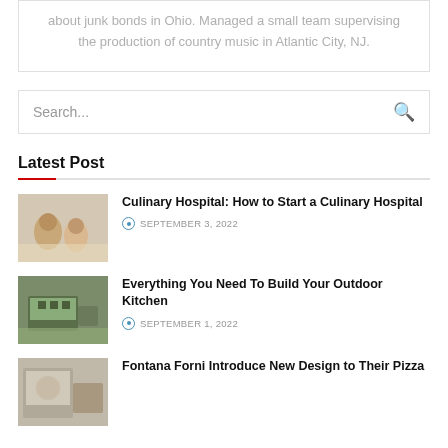about junk bonds in Ohio. Managed a small team supervising the production of country music in Atlantic City, NJ.
Search...
Latest Post
Culinary Hospital: How to Start a Culinary Hospital — SEPTEMBER 3, 2022
Everything You Need To Build Your Outdoor Kitchen — SEPTEMBER 1, 2022
Fontana Forni Introduce New Design to Their Pizza